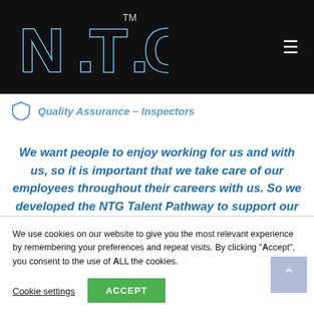[Figure (logo): N.T.G. logo in white outlined letters on black navigation bar with TM superscript]
Quality Assurance – Inspectors
We want people to enjoy working for us and with us, so it is important that we take care of our employees throughout their careers with us. So we developed the NTG Talent Pathway to support our
We use cookies on our website to give you the most relevant experience by remembering your preferences and repeat visits. By clicking "Accept", you consent to the use of ALL the cookies.
Cookie settings | ACCEPT